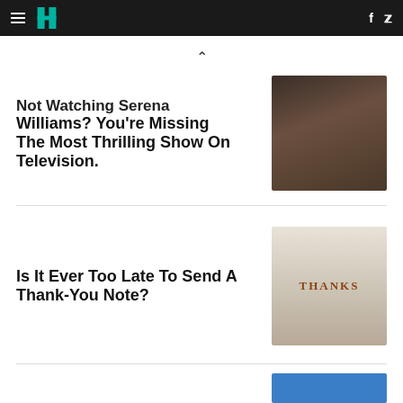HuffPost navigation bar with hamburger menu, logo, Facebook and Twitter icons
Not Watching Serena Williams? You're Missing The Most Thrilling Show On Television.
[Figure (photo): Photo of Serena Williams in a black outfit pumping her fist]
Is It Ever Too Late To Send A Thank-You Note?
[Figure (photo): Person holding a white card that reads THANKS]
[Figure (photo): Partial view of a blue-background image at bottom of page]